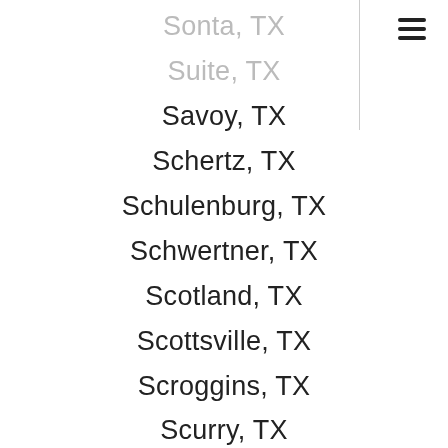Sonta, TX
Suite, TX
Savoy, TX
Schertz, TX
Schulenburg, TX
Schwertner, TX
Scotland, TX
Scottsville, TX
Scroggins, TX
Scurry, TX
Seabrook, TX
Seadrift, TX
Seagoville, TX
Seagraves, TX
Sealy, TX
Sebastian, TX